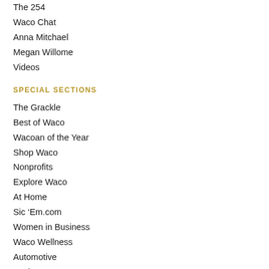The 254
Waco Chat
Anna Mitchael
Megan Willome
Videos
SPECIAL SECTIONS
The Grackle
Best of Waco
Wacoan of the Year
Shop Waco
Nonprofits
Explore Waco
At Home
Sic 'Em.com
Women in Business
Waco Wellness
Automotive
Business 254
Star Students
Summer Camp Guide